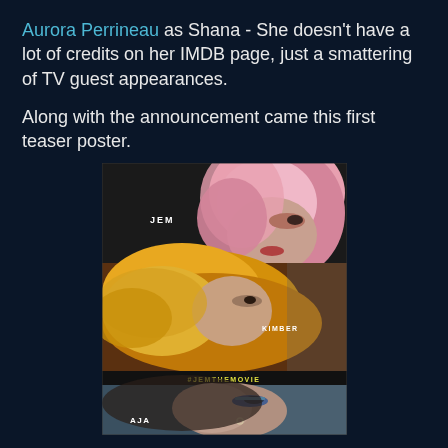Aurora Perrineau as Shana - She doesn't have a lot of credits on her IMDB page, just a smattering of TV guest appearances.
Along with the announcement came this first teaser poster.
[Figure (photo): Teaser movie poster for Jem The Movie (#JemTheMovie) showing three horizontal panels: top panel shows a woman with pink hair (labeled JEM), middle panel shows a woman with golden/blonde hair (labeled KIMBER), bottom panel shows a woman with blue eye makeup and a nose ring (labeled AJA). The hashtag #JEMTHEMOVIE appears between the middle and bottom panels.]